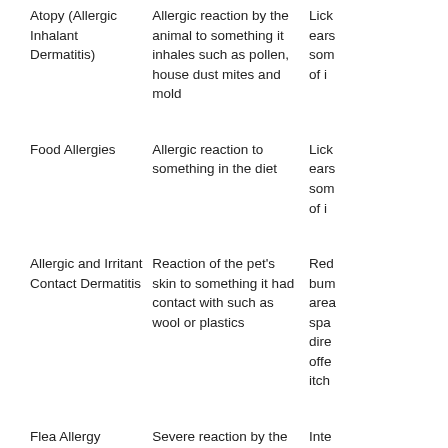| Atopy (Allergic Inhalant Dermatitis) | Allergic reaction by the animal to something it inhales such as pollen, house dust mites and mold | Lick ears som of i |
| Food Allergies | Allergic reaction to something in the diet | Lick ears som of i |
| Allergic and Irritant Contact Dermatitis | Reaction of the pet's skin to something it had contact with such as wool or plastics | Red bum area spa dire offe itch |
| Flea Allergy Dermatitis (Flea Bite | Severe reaction by the animal to the saliva of | Inte hair |